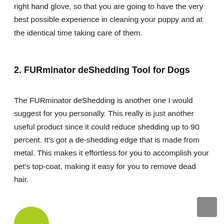right hand glove, so that you are going to have the very best possible experience in cleaning your puppy and at the identical time taking care of them.
2. FURminator deShedding Tool for Dogs
The FURminator deShedding is another one I would suggest for you personally. This really is just another useful product since it could reduce shedding up to 90 percent. It's got a de-shedding edge that is made from metal. This makes it effortless for you to accomplish your pet's top-coat, making it easy for you to remove dead hair.